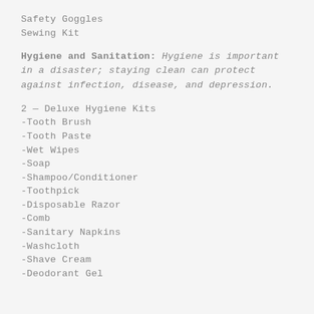Safety Goggles
Sewing Kit
Hygiene and Sanitation: Hygiene is important in a disaster; staying clean can protect against infection, disease, and depression.
2 — Deluxe Hygiene Kits
-Tooth Brush
-Tooth Paste
-Wet Wipes
-Soap
-Shampoo/Conditioner
-Toothpick
-Disposable Razor
-Comb
-Sanitary Napkins
-Washcloth
-Shave Cream
-Deodorant Gel